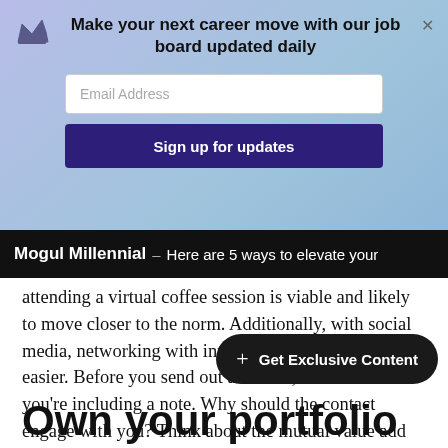[Figure (other): Promotional banner with purple/blue gradient background, crown icon, headline 'Make your next career move with our job board updated daily', email input field, and a dark purple sign-up button]
Mogul Millennial – Here are 5 ways to elevate your
attending a virtual coffee session is viable and likely to move closer to the norm. Additionally, with social media, networking with intention has never been easier. Before you send out an invite, make sure you're including a note. Why should the contact engage with you? Think about the mutual value add and go for it!
[Figure (other): Dark pill-shaped CTA button with plus icon and text 'Get Exclusive Content']
Own your portfolio